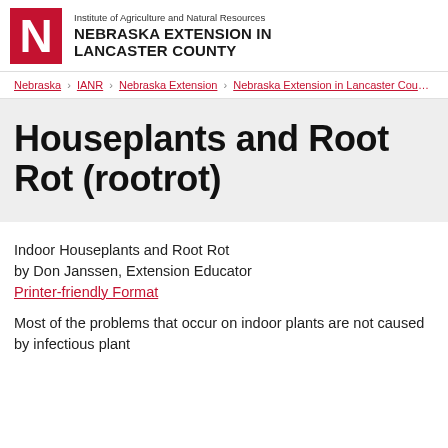Institute of Agriculture and Natural Resources NEBRASKA EXTENSION IN LANCASTER COUNTY
Nebraska › IANR › Nebraska Extension › Nebraska Extension in Lancaster Coun…
Houseplants and Root Rot (rootrot)
Indoor Houseplants and Root Rot
by Don Janssen, Extension Educator
Printer-friendly Format
Most of the problems that occur on indoor plants are not caused by infectious plant